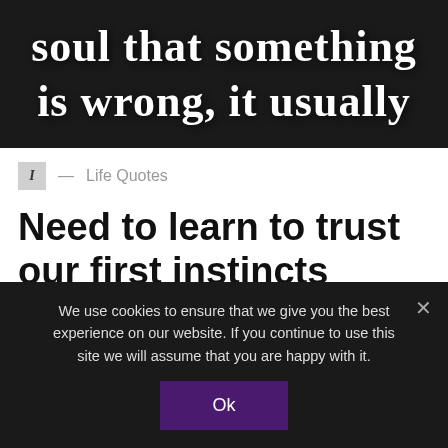[Figure (photo): Dark background image with large white serif text reading 'soul that something is wrong, it usually']
I  —  Life Quotes
Need to learn to trust our first instincts
by admin · April 23, 2014 · 722 views · 2 shares · No comments
We use cookies to ensure that we give you the best experience on our website. If you continue to use this site we will assume that you are happy with it.
Ok